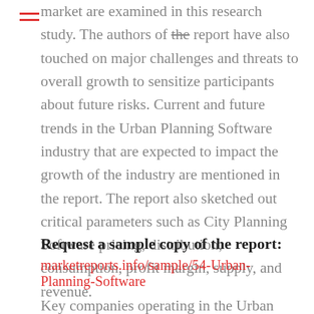market are examined in this research study. The authors of the report have also touched on major challenges and threats to overall growth to sensitize participants about future risks. Current and future trends in the Urban Planning Software industry that are expected to impact the growth of the industry are mentioned in the report. The report also sketched out critical parameters such as City Planning Software pricing, distribution, consumption, profit margin, supply, and revenue.
Request a sample copy of the report:
marketreports.info/sample/54-Urban-Planning-Software
Key companies operating in the Urban Planning Software market including Autodesk Inc. (US), ESRI (US), Bentley (UK), Lumion (Netherlands), ArcGIS Urban (India),